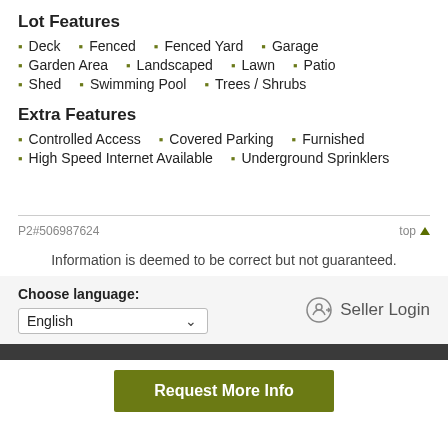Lot Features
Deck
Fenced
Fenced Yard
Garage
Garden Area
Landscaped
Lawn
Patio
Shed
Swimming Pool
Trees / Shrubs
Extra Features
Controlled Access
Covered Parking
Furnished
High Speed Internet Available
Underground Sprinklers
P2#506987624   top
Information is deemed to be correct but not guaranteed.
Choose language: English
Seller Login
Request More Info